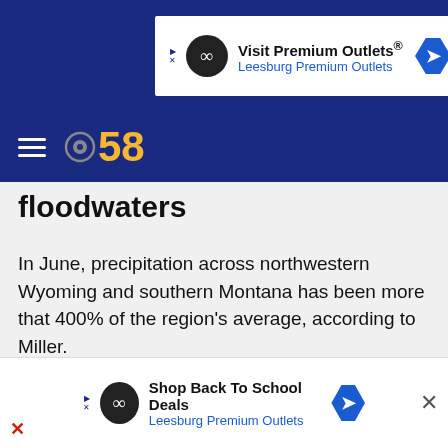[Figure (screenshot): Advertisement banner: Visit Premium Outlets - Leesburg Premium Outlets with logo and directional arrow icon]
[Figure (logo): CBS 58 logo with hamburger menu icon on dark blue navigation bar]
floodwaters
In June, precipitation across northwestern Wyoming and southern Montana has been more that 400% of the region's average, according to Miller.
The dramatic increase in rain has been coupled with near-record temperatures in the region that have caused snowmelt in areas of high elevation, the NWS in Riverton, Wyoming, said. Overnight Sunday, the
[Figure (screenshot): Advertisement banner at bottom: Shop Back To School Deals - Leesburg Premium Outlets with logo and directional arrow icon]